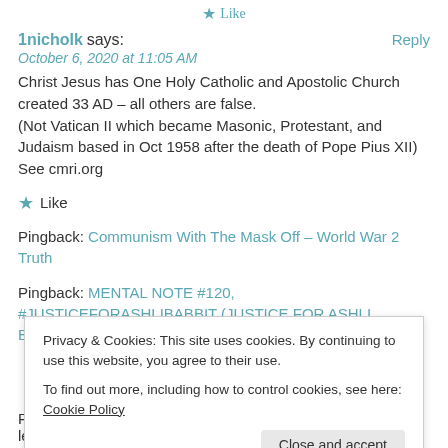★ Like
1nicholk says:
Reply
October 6, 2020 at 11:05 AM
Christ Jesus has One Holy Catholic and Apostolic Church created 33 AD – all others are false.
(Not Vatican II which became Masonic, Protestant, and Judaism based in Oct 1958 after the death of Pope Pius XII) See cmri.org
★ Like
Pingback: Communism With The Mask Off – World War 2 Truth
Pingback: MENTAL NOTE #120, #JUSTICEFORASHLIBABBIT (JUSTICE FOR ASHLI BABBIT), WILL THERE EVEN BE ANY? – Behind the Lens
Privacy & Cookies: This site uses cookies. By continuing to use this website, you agree to their use.
To find out more, including how to control cookies, see here: Cookie Policy
Close and accept
Pingback: I was 15 to 20 years old when I made the minute league gaming...